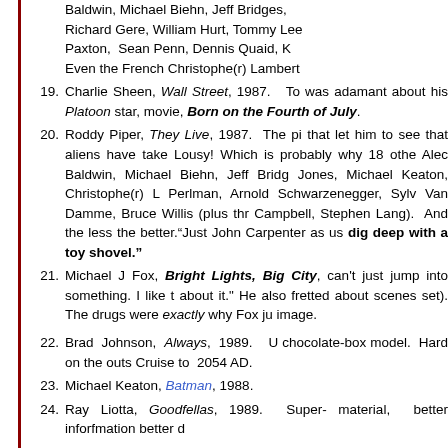Baldwin, Michael Biehn, Jeff Bridges, Richard Gere, William Hurt, Tommy Lee Paxton, Sean Penn, Dennis Quaid, K... Even the French Christophe(r) Lambert
19. Charlie Sheen, Wall Street, 1987. To was adamant about his Platoon star, movie, Born on the Fourth of July.
20. Roddy Piper, They Live, 1987. The pi that let him to see that aliens have take Lousy! Which is probably why 18 othe Alec Baldwin, Michael Biehn, Jeff Bridg Jones, Michael Keaton, Christophe(r) L Perlman, Arnold Schwarzenegger, Sylv Van Damme, Bruce Willis (plus thr Campbell, Stephen Lang). And the less the better.“Just John Carpenter as us dig deep with a toy shovel.”
21. Michael J Fox, Bright Lights, Big City, can't just jump into something. I like t about it." He also fretted about scenes set). The drugs were exactly why Fox ju image.
22. Brad Johnson, Always, 1989. U chocolate-box model. Hard on the outs Cruise to 2054 AD.
23. Michael Keaton, Batman, 1988.
24. Ray Liotta, Goodfellas, 1989. Super- material, better inforfmation better d